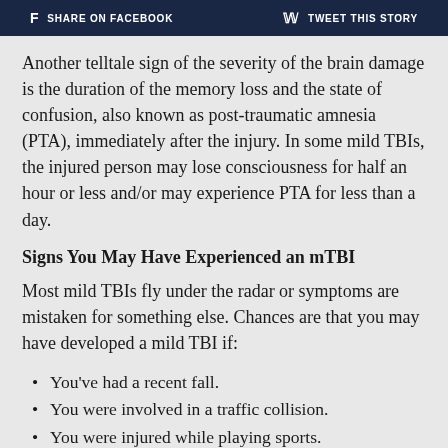f SHARE ON FACEBOOK   TWEET THIS STORY
Another telltale sign of the severity of the brain damage is the duration of the memory loss and the state of confusion, also known as post-traumatic amnesia (PTA), immediately after the injury. In some mild TBIs, the injured person may lose consciousness for half an hour or less and/or may experience PTA for less than a day.
Signs You May Have Experienced an mTBI
Most mild TBIs fly under the radar or symptoms are mistaken for something else. Chances are that you may have developed a mild TBI if:
You've had a recent fall.
You were involved in a traffic collision.
You were injured while playing sports.
You were the victim of a natural disaster.
Domestic abuse is an issue in your household.